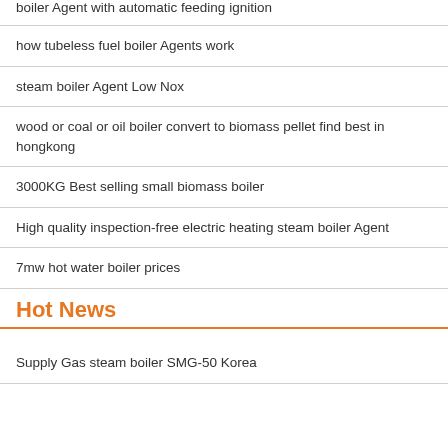boiler Agent with automatic feeding ignition
how tubeless fuel boiler Agents work
steam boiler Agent Low Nox
wood or coal or oil boiler convert to biomass pellet find best in hongkong
3000KG Best selling small biomass boiler
High quality inspection-free electric heating steam boiler Agent
7mw hot water boiler prices
Hot News
Supply Gas steam boiler SMG-50 Korea